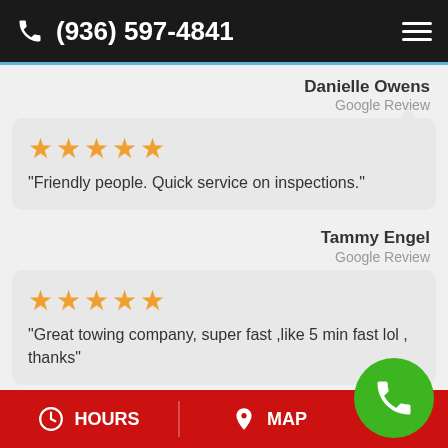(936) 597-4841
Danielle Owens
Google Review
“Friendly people. Quick service on inspections.”
Tammy Engel
Google Review
“Great towing company, super fast ,like 5 min fast lol , thanks”
HOURS   MAP